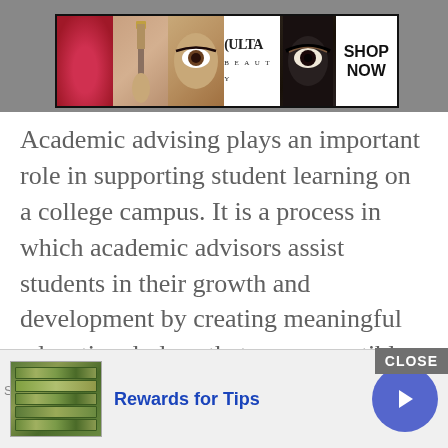[Figure (illustration): Ulta Beauty advertisement banner showing lipstick, makeup brushes, eye makeup, Ulta logo, smoky eye, and SHOP NOW text]
Academic advising plays an important role in supporting student learning on a college campus. It is a process in which academic advisors assist students in their growth and development by creating meaningful educational plans that are compatible with their life goals. While advising is often associated with course selection, it is actually a lot more [...]
[Figure (illustration): Bottom advertisement bar showing money/cash image with 'Rewards for Tips' text in blue, a CLOSE button, and a blue circular arrow button]